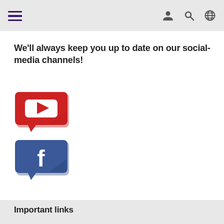We'll always keep you up to date on our social-media channels!
[Figure (logo): YouTube logo styled as a red speech bubble with a white play button triangle inside]
[Figure (logo): Facebook logo styled as a blue speech bubble with a white lowercase 'f' inside]
Important links